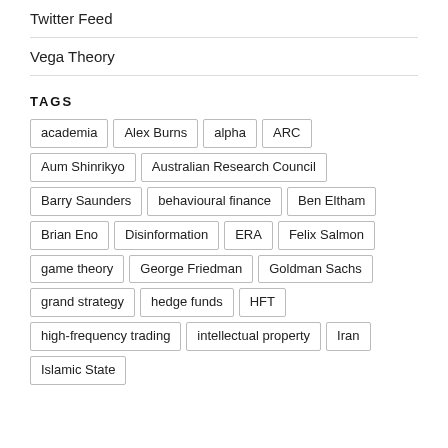Twitter Feed
Vega Theory
TAGS
academia
Alex Burns
alpha
ARC
Aum Shinrikyo
Australian Research Council
Barry Saunders
behavioural finance
Ben Eltham
Brian Eno
Disinformation
ERA
Felix Salmon
game theory
George Friedman
Goldman Sachs
grand strategy
hedge funds
HFT
high-frequency trading
intellectual property
Iran
Islamic State